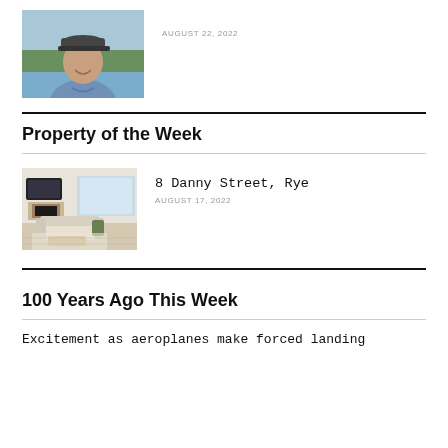[Figure (photo): Portrait photo of a man wearing a cap and blue shirt, outdoors near water]
AUGUST 22, 2022
Property of the Week
[Figure (photo): Interior living room photo showing a modern bright room with fireplace and outdoor view]
8 Danny Street, Rye
AUGUST 17, 2022
100 Years Ago This Week
Excitement as aeroplanes make forced landing